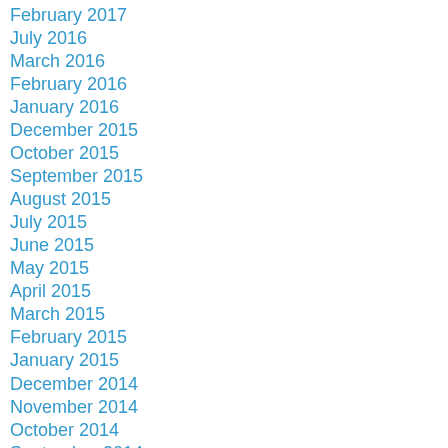February 2017
July 2016
March 2016
February 2016
January 2016
December 2015
October 2015
September 2015
August 2015
July 2015
June 2015
May 2015
April 2015
March 2015
February 2015
January 2015
December 2014
November 2014
October 2014
September 2014
August 2014